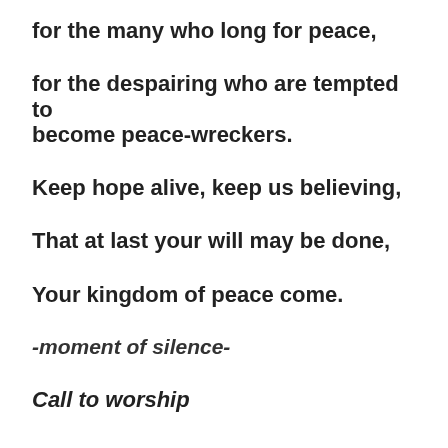for the many who long for peace,
for the despairing who are tempted to become peace-wreckers.
Keep hope alive, keep us believing,
That at last your will may be done,
Your kingdom of peace come.
-moment of silence-
Call to worship